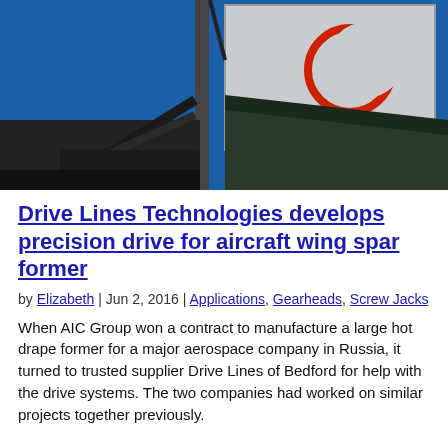[Figure (photo): Close-up photo of industrial machinery — blue metal frame with mechanical arms and a panel with a red crescent symbol, likely part of an aircraft wing spar forming machine.]
Drive Lines Technologies develops precision drive for aircraft wing spar former
by Elizabeth | Jun 2, 2016 | Applications, Gearheads, Screw Jacks
When AIC Group won a contract to manufacture a large hot drape former for a major aerospace company in Russia, it turned to trusted supplier Drive Lines of Bedford for help with the drive systems. The two companies had worked on similar projects together previously.